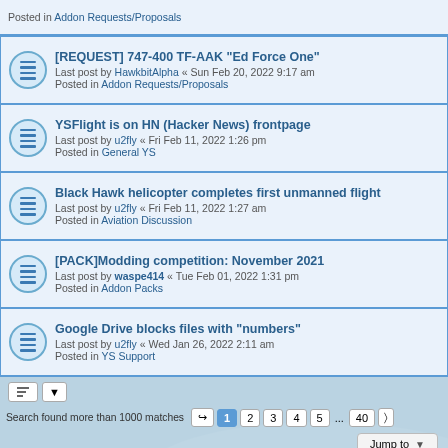Posted in Addon Requests/Proposals
[REQUEST] 747-400 TF-AAK "Ed Force One" — Last post by HawkbitAlpha « Sun Feb 20, 2022 9:17 am — Posted in Addon Requests/Proposals
YSFlight is on HN (Hacker News) frontpage — Last post by u2fly « Fri Feb 11, 2022 1:26 pm — Posted in General YS
Black Hawk helicopter completes first unmanned flight — Last post by u2fly « Fri Feb 11, 2022 1:27 am — Posted in Aviation Discussion
[PACK]Modding competition: November 2021 — Last post by waspe414 « Tue Feb 01, 2022 1:31 pm — Posted in Addon Packs
Google Drive blocks files with "numbers" — Last post by u2fly « Wed Jan 26, 2022 2:11 am — Posted in YS Support
Search found more than 1000 matches
Jump to
Select Language